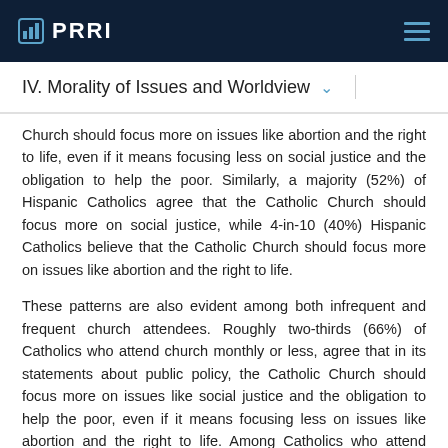PRRI
IV. Morality of Issues and Worldview
Church should focus more on issues like abortion and the right to life, even if it means focusing less on social justice and the obligation to help the poor. Similarly, a majority (52%) of Hispanic Catholics agree that the Catholic Church should focus more on social justice, while 4-in-10 (40%) Hispanic Catholics believe that the Catholic Church should focus more on issues like abortion and the right to life.
These patterns are also evident among both infrequent and frequent church attendees. Roughly two-thirds (66%) of Catholics who attend church monthly or less, agree that in its statements about public policy, the Catholic Church should focus more on issues like social justice and the obligation to help the poor, even if it means focusing less on issues like abortion and the right to life. Among Catholics who attend church at least once a week, a slim